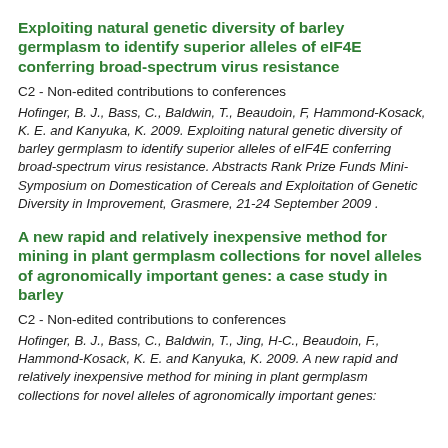Exploiting natural genetic diversity of barley germplasm to identify superior alleles of eIF4E conferring broad-spectrum virus resistance
C2 - Non-edited contributions to conferences
Hofinger, B. J., Bass, C., Baldwin, T., Beaudoin, F, Hammond-Kosack, K. E. and Kanyuka, K. 2009. Exploiting natural genetic diversity of barley germplasm to identify superior alleles of eIF4E conferring broad-spectrum virus resistance. Abstracts Rank Prize Funds Mini-Symposium on Domestication of Cereals and Exploitation of Genetic Diversity in Improvement, Grasmere, 21-24 September 2009 .
A new rapid and relatively inexpensive method for mining in plant germplasm collections for novel alleles of agronomically important genes: a case study in barley
C2 - Non-edited contributions to conferences
Hofinger, B. J., Bass, C., Baldwin, T., Jing, H-C., Beaudoin, F., Hammond-Kosack, K. E. and Kanyuka, K. 2009. A new rapid and relatively inexpensive method for mining in plant germplasm collections for novel alleles of agronomically important genes: